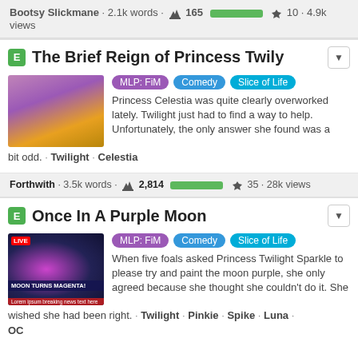Sunset Shimmer · Flash Sentry
Bootsy Slickmane · 2.1k words · 165 [rating] 10 · 4.9k views
The Brief Reign of Princess Twily
[Figure (screenshot): Thumbnail showing a purple/gold throne room scene from MLP]
MLP: FiM | Comedy | Slice of Life — Princess Celestia was quite clearly overworked lately. Twilight just had to find a way to help. Unfortunately, the only answer she found was a bit odd. · Twilight · Celestia
Forthwith · 3.5k words · 2,814 [rating] 35 · 28k views
Once In A Purple Moon
[Figure (screenshot): Thumbnail showing purple moon over a city, breaking news bar reading MOON TURNS MAGENTA!]
MLP: FiM | Comedy | Slice of Life — When five foals asked Princess Twilight Sparkle to please try and paint the moon purple, she only agreed because she thought she couldn't do it. She wished she had been right. · Twilight · Pinkie · Spike · Luna · OC